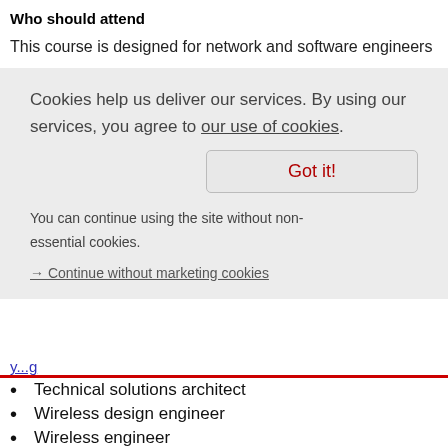Who should attend
This course is designed for network and software engineers
Cookies help us deliver our services. By using our services, you agree to our use of cookies.
Got it!
You can continue using the site without non-essential cookies.
→ Continue without marketing cookies
Technical solutions architect
Wireless design engineer
Wireless engineer
Certifications
This course is part of the following Certifications: